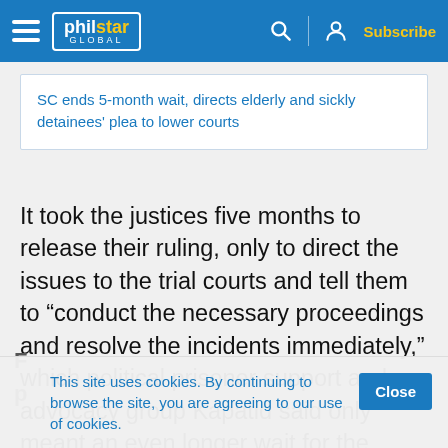philstar GLOBAL — Subscribe
SC ends 5-month wait, directs elderly and sickly detainees' plea to lower courts
It took the justices five months to release their ruling, only to direct the issues to the trial courts and tell them to “conduct the necessary proceedings and resolve the incidents immediately,” which political prisoner support and advocacy group Kapatid said only meant an even longer wait for the families.
This site uses cookies. By continuing to browse the site, you are agreeing to our use of cookies.